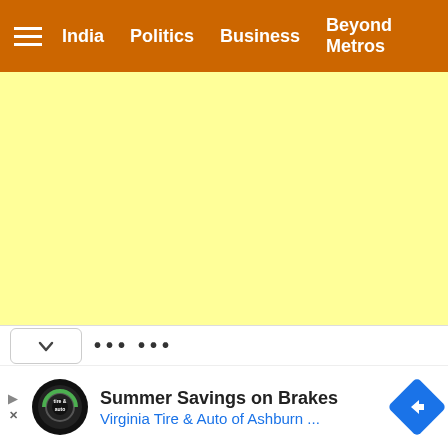≡  India  Politics  Business  Beyond Metros
[Figure (other): Yellow advertisement placeholder area]
∨  ••• •••
Summer Savings on Brakes
Virginia Tire & Auto of Ashburn ...